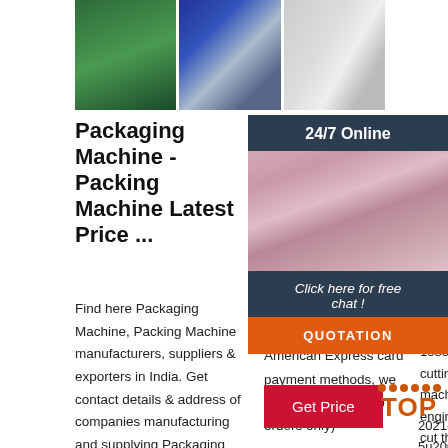[Figure (photo): Three product images in a horizontal strip: green packaging machine, blue drums with frame, and white/grey cans with containers]
Packaging Machine - Packing Machine Latest Price ...
Find here Packaging Machine, Packing Machine manufacturers, suppliers & exporters in India. Get contact details & address of companies manufacturing and supplying Packaging Machine, Packing Machine, Packaging
Daiso Japan Online Store
(Please note: Our retail stores do not accept American Express card payment methods, we accept them on web orders only)
Get Price
Manu... Mach... Cutte... Eastr... Mach...
2021-8... 5u200... Model... standard since 1888, Eastman cutting machines are engineered to cut the most diverse range of traditional, modern
[Figure (photo): Customer service representative with headset, 24/7 online chat widget with orange QUOTATION button]